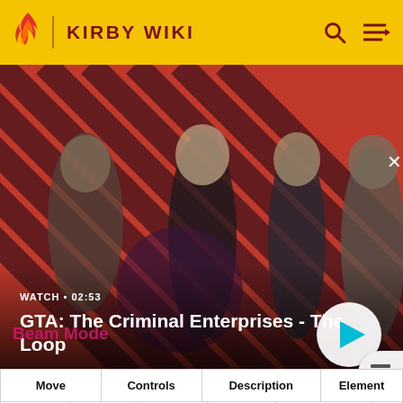KIRBY WIKI
[Figure (screenshot): Video thumbnail for 'GTA: The Criminal Enterprises - The Loop' showing four game characters on a red and black diagonal stripe background. Watch duration shown as 02:53. Play button visible.]
|  |  |  |  | than the throw. |
| --- | --- | --- | --- | --- |
|  |
Beam Mode
| Move | Controls | Description | Element |
| --- | --- | --- | --- |